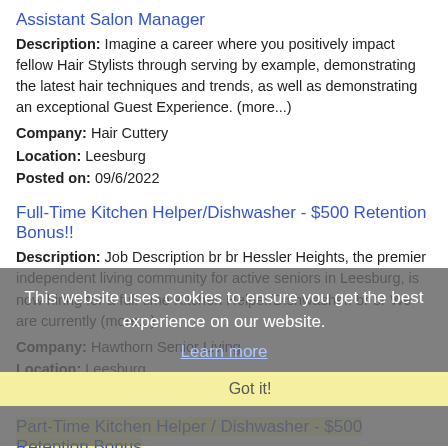Assistant Salon Manager
Description: Imagine a career where you positively impact fellow Hair Stylists through serving by example, demonstrating the latest hair techniques and trends, as well as demonstrating an exceptional Guest Experience. (more...)
Company: Hair Cuttery
Location: Leesburg
Posted on: 09/6/2022
Full-Time Kitchen Helper/Dishwasher - $500 Retention Bonus!!
Description: Job Description br br Hessler Heights, the premier independent living community for active seniors in Leesburg, is now hiring for a full-time Kitchen Helper/Dishwasher. br br We are currently (more...)
Company: Hawthorn Senior Living
Location: Leesburg
Posted on: 09/6/2022
Part-Time Kitchen Helper / Dishwasher - $500 Retention Bonus
Description: Job Description br br Hessler Heights, the premier retirement community for active seniors in Leesburg, is now hiring